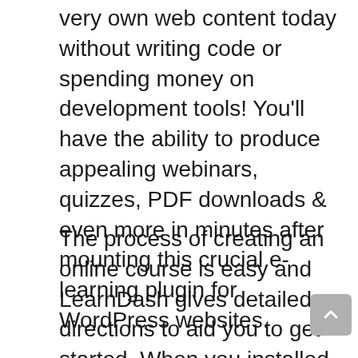very own web content today without writing code or spending money on development tools! You'll have the ability to produce appealing webinars, quizzes, PDF downloads & even more in minutes after mounting this crucial e-learning plugin for WordPress websites.
The process of creating an online course is easy and LearnDash gives detailed directions to aid you to get started. When you installed the plugin, LearnDash will certainly check for any kind of needed plugins. It's ideal to mount all the recommended WordPress plugins to make sure your course functions properly on LearnDash.